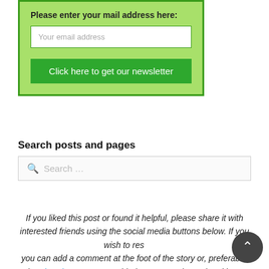Please enter your mail address here:
Your email address
Click here to get our newsletter
Search posts and pages
Search …
If you liked this post or found it helpful, please share it with interested friends using the social media buttons below. If you wish to respond, you can add a comment at the foot of the story or, preferably, the Flat Chat Forum, provided you are registered and have logged in.